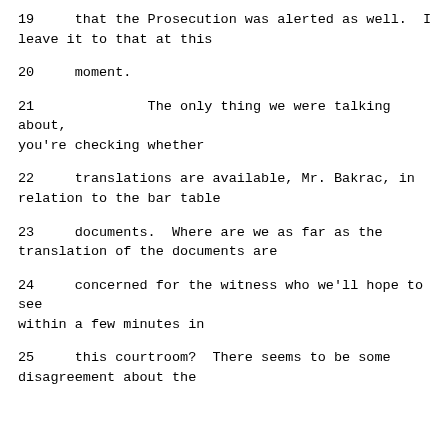19     that the Prosecution was alerted as well.  I leave it to that at this
20     moment.
21              The only thing we were talking about, you're checking whether
22     translations are available, Mr. Bakrac, in relation to the bar table
23     documents.  Where are we as far as the translation of the documents are
24     concerned for the witness who we'll hope to see within a few minutes in
25     this courtroom?  There seems to be some disagreement about the